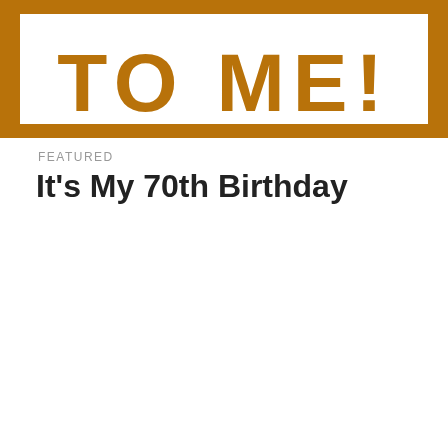[Figure (illustration): Top portion of a birthday card graphic with golden/brown border and white interior showing partial large text]
FEATURED
It's My 70th Birthday
[Figure (illustration): Birthday card image with golden brown border, large '70' numeral, scrabble tiles spelling YEARS, and partial BLESSED text at bottom]